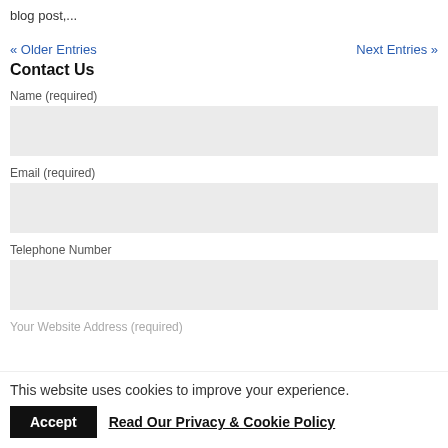blog post,...
« Older Entries    Next Entries »
Contact Us
Name (required)
Email (required)
Telephone Number
Your Website Address (required)
This website uses cookies to improve your experience.
Accept   Read Our Privacy & Cookie Policy